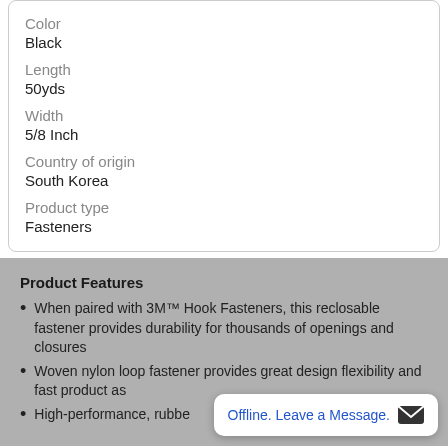| Color |  |
| Black |  |
| Length |  |
| 50yds |  |
| Width |  |
| 5/8 Inch |  |
| Country of origin |  |
| South Korea |  |
| Product type |  |
| Fasteners |  |
Product Features
When paired with 3M™ Hook Fasteners, this reclosable fastener provides durability for thousands of openings and closures
Woven nylon loop fastener provides great design flexibility and fast product as…
High-performance, rubbe…